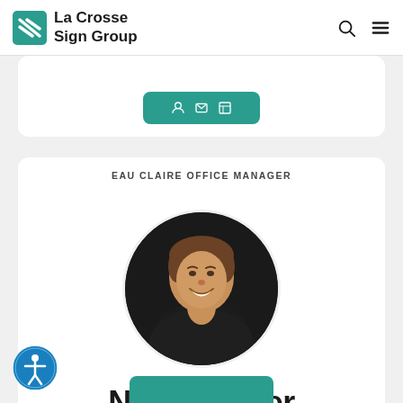La Crosse Sign Group
EAU CLAIRE OFFICE MANAGER
[Figure (photo): Circular profile photo of Nicole Taber, a woman smiling, wearing a dark jacket, photographed in a dark industrial setting]
Nicole Taber
Team Member Since 2019